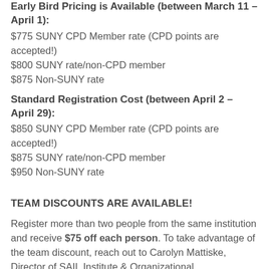Early Bird Pricing is Available (between March 11 – April 1):
$775 SUNY CPD Member rate (CPD points are accepted!)
$800 SUNY rate/non-CPD member
$875 Non-SUNY rate
Standard Registration Cost (between April 2 – April 29):
$850 SUNY CPD Member rate (CPD points are accepted!)
$875 SUNY rate/non-CPD member
$950 Non-SUNY rate
TEAM DISCOUNTS ARE AVAILABLE!
Register more than two people from the same institution and receive $75 off each person. To take advantage of the team discount, reach out to Carolyn Mattiske, Director of SAIL Institute & Organizational